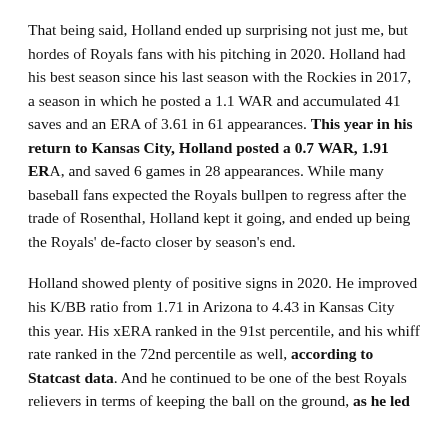That being said, Holland ended up surprising not just me, but hordes of Royals fans with his pitching in 2020. Holland had his best season since his last season with the Rockies in 2017, a season in which he posted a 1.1 WAR and accumulated 41 saves and an ERA of 3.61 in 61 appearances. This year in his return to Kansas City, Holland posted a 0.7 WAR, 1.91 ERA, and saved 6 games in 28 appearances. While many baseball fans expected the Royals bullpen to regress after the trade of Rosenthal, Holland kept it going, and ended up being the Royals' de-facto closer by season's end.
Holland showed plenty of positive signs in 2020. He improved his K/BB ratio from 1.71 in Arizona to 4.43 in Kansas City this year. His xERA ranked in the 91st percentile, and his whiff rate ranked in the 72nd percentile as well, according to Statcast data. And he continued to be one of the best Royals relievers in terms of keeping the ball on the ground, as he led